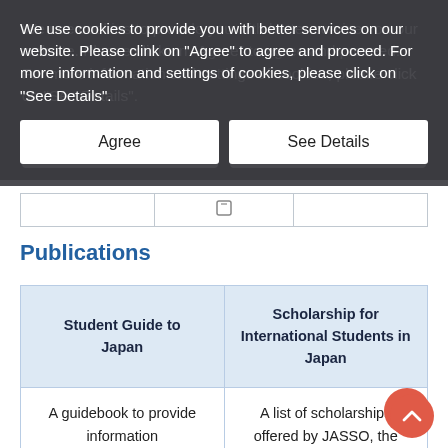We use cookies to provide you with better services on our website. Please clink on "Agree" to agree and proceed. For more information and settings of cookies, please click on "See Details".
Publications
| Student Guide to Japan | Scholarship for International Students in Japan |
| --- | --- |
| A guidebook to provide information for those who wish to | A list of scholarships offered by JASSO, the Japanese government, |